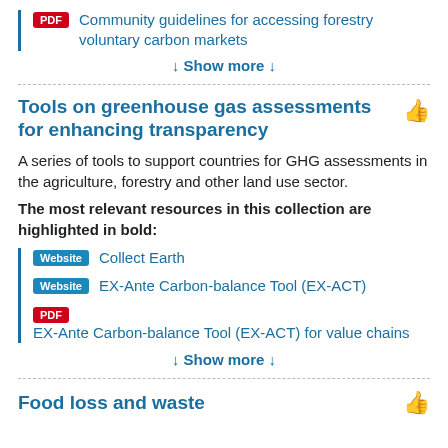PDF  Community guidelines for accessing forestry voluntary carbon markets
↓ Show more ↓
Tools on greenhouse gas assessments for enhancing transparency
A series of tools to support countries for GHG assessments in the agriculture, forestry and other land use sector.
The most relevant resources in this collection are highlighted in bold:
Website  Collect Earth
Website  EX-Ante Carbon-balance Tool (EX-ACT)
PDF  EX-Ante Carbon-balance Tool (EX-ACT) for value chains
↓ Show more ↓
Food loss and waste